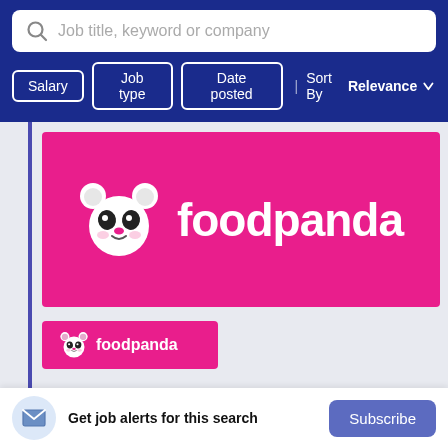[Figure (screenshot): Search bar with placeholder text 'Job title, keyword or company' and a magnifying glass icon on white background]
[Figure (screenshot): Filter buttons: Salary, Job type, Date posted, and Sort By Relevance dropdown on dark blue background]
[Figure (logo): Foodpanda logo — white panda icon and 'foodpanda' text on pink/magenta background banner]
[Figure (logo): Small Foodpanda logo box — white panda icon and 'foodpanda' text on pink/magenta background]
Get job alerts for this search
Subscribe